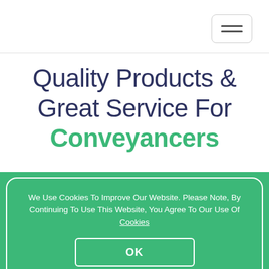Quality Products & Great Service For Conveyancers
We Use Cookies To Improve Our Website. Please Note, By Continuing To Use This Website, You Agree To Our Use Of Cookies
OK
REGISTER NOW